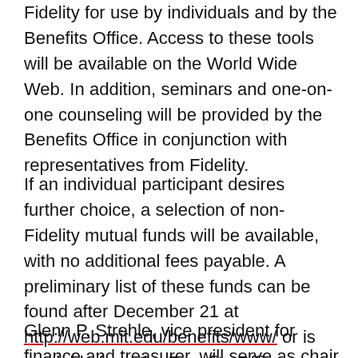Fidelity for use by individuals and by the Benefits Office. Access to these tools will be available on the World Wide Web. In addition, seminars and one-on-one counseling will be provided by the Benefits Office in conjunction with representatives from Fidelity.
If an individual participant desires further choice, a selection of non-Fidelity mutual funds will be available, with no additional fees payable. A preliminary list of these funds can be found after December 21 at http://web.mit.edu/benefits/www/ or is available from the Benefits Offices on campus and at Lincoln Laboratory.
Glenn P. Strehle, vice president for finance and treasurer, will serve as chair of the committee